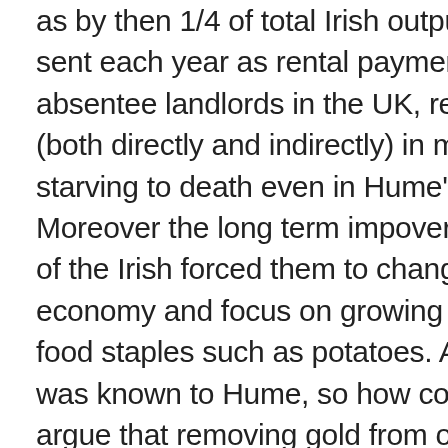as by then 1/4 of total Irish output was sent each year as rental payment to absentee landlords in the UK, resulting (both directly and indirectly) in many Irish starving to death even in Hume's day. Moreover the long term impoverishment of the Irish forced them to change their economy and focus on growing cheap food staples such as potatoes. All of this was known to Hume, so how could he argue that removing gold from one country while keeping it others wouldn't result in any long term effects? The British did just that to Ireland.